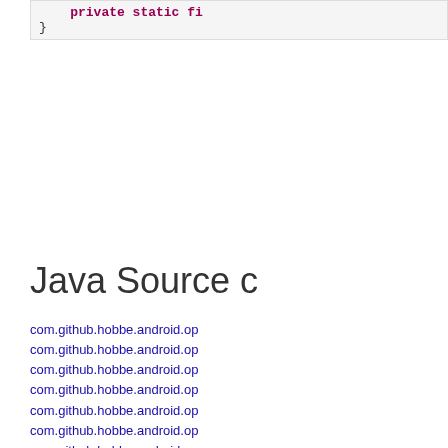private static fi
}
Java Source c
com.github.hobbe.android.op
com.github.hobbe.android.op
com.github.hobbe.android.op
com.github.hobbe.android.op
com.github.hobbe.android.op
com.github.hobbe.android.op
com.github.hobbe.android.op
com.github.hobbe.android.op
com.github.hobbe.android.op
com.github.hobbe.android.op
com.github.hobbe.android.op
com.github.hobbe.android.op